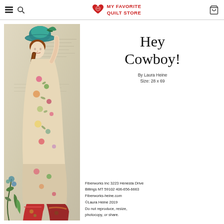MY FAVORITE QUILT STORE
[Figure (illustration): A tall quilt featuring a woman in a teal cowboy hat, floral dress, and red boots, with botanical and vintage paper collage background]
Hey Cowboy!
By Laura Heine
Size: 28 x 69
Fiberworks Inc 3223 Henesta Drive
Billings MT 59102 406-656-6663
Fiberworks-heine.com
©Laura Heine 2019
Do not reproduce, resize, photocopy, or share.